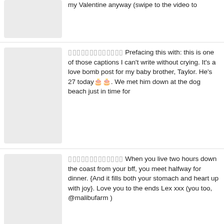my Valentine anyway (swipe to the video to
▯▯▯▯▯▯▯▯▯▯▯▯▯ Prefacing this with: this is one of those captions I can't write without crying. It's a love bomb post for my baby brother, Taylor. He's 27 today🎂. We met him down at the dog beach just in time for
▯▯▯▯▯▯▯▯▯▯▯▯▯ When you live two hours down the coast from your bff, you meet halfway for dinner. {And it fills both your stomach and heart up with joy}. Love you to the ends Lex xxx (you too, @malibufarm )
▯▯▯▯▯▯▯▯▯▯▯▯▯ 2018 almost broke me, but in 2019 I was brave. ..2019 was the year I got a job that wasn't being a pro volleyball player. 2019 was the year I managed to run a rapidly growing design business (at the r